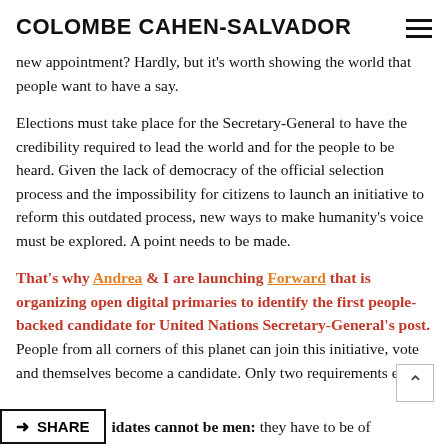COLOMBE CAHEN-SALVADOR
new appointment? Hardly, but it's worth showing the world that people want to have a say.
Elections must take place for the Secretary-General to have the credibility required to lead the world and for the people to be heard. Given the lack of democracy of the official selection process and the impossibility for citizens to launch an initiative to reform this outdated process, new ways to make humanity's voice must be explored. A point needs to be made.
That's why Andrea & I are launching Forward that is organizing open digital primaries to identify the first people-backed candidate for United Nations Secretary-General's post. People from all corners of this planet can join this initiative, vote and themselves become a candidate. Only two requirements exis
idates cannot be men: they have to be of